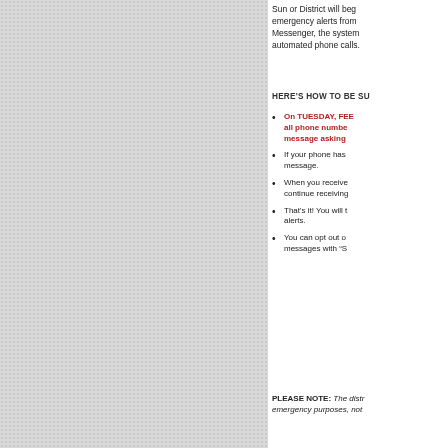Sun or District will begin emergency alerts from Messenger, the system automated phone calls.
HERE'S HOW TO BE SU
On TUESDAY, FEE all phone numbe message asking
If your phone has message.
When you receive continue receiving
That's it! You will t alerts.
You can opt out o messages with "S
PLEASE NOTE: The distr emergency purposes, not